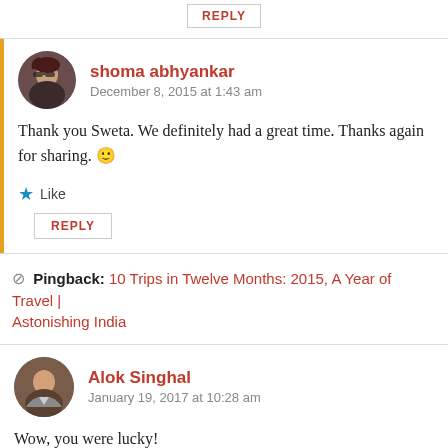REPLY
shoma abhyankar
December 8, 2015 at 1:43 am
Thank you Sweta. We definitely had a great time. Thanks again for sharing. 🙂
Like
REPLY
Pingback: 10 Trips in Twelve Months: 2015, A Year of Travel | Astonishing India
Alok Singhal
January 19, 2017 at 10:28 am
Wow, you were lucky!
Like